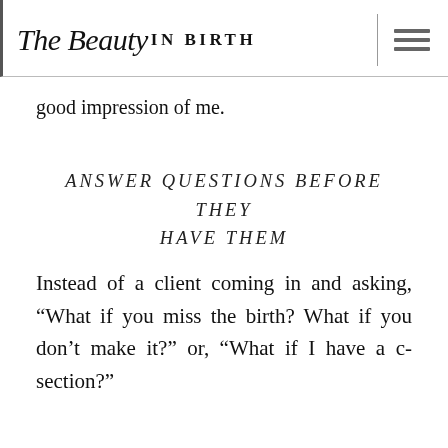The Beauty IN BIRTH
good impression of me.
ANSWER QUESTIONS BEFORE THEY HAVE THEM
Instead of a client coming in and asking, “What if you miss the birth? What if you don’t make it?” or, “What if I have a c-section?”